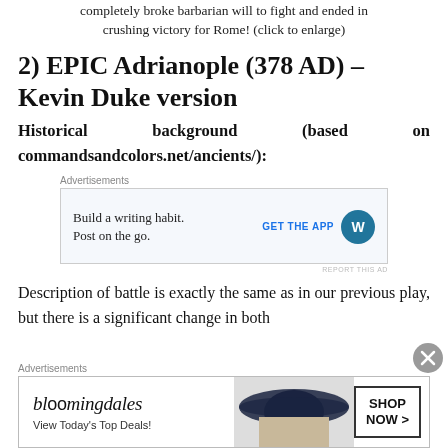completely broke barbarian will to fight and ended in crushing victory for Rome! (click to enlarge)
2) EPIC Adrianople (378 AD) – Kevin Duke version
Historical background (based on commandsandcolors.net/ancients/):
[Figure (screenshot): Advertisement: Build a writing habit. Post on the go. GET THE APP [WordPress icon]]
Description of battle is exactly the same as in our previous play, but there is a significant change in both
[Figure (screenshot): Advertisement: bloomingdales View Today's Top Deals! SHOP NOW >]